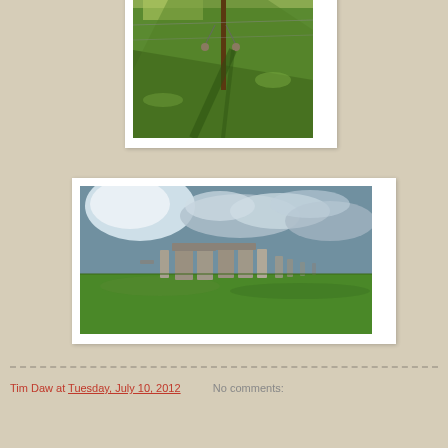[Figure (photo): Photo of a green field with a fence post and hanging objects (looks like scales or bird feeders), bright sunlight casting shadows. Partially cropped at top.]
[Figure (photo): Photo of Stonehenge monument in a wide green field with dramatic cloudy sky above.]
Tim Daw at Tuesday, July 10, 2012    No comments: